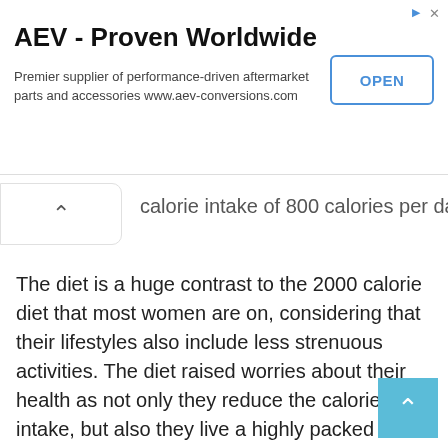[Figure (other): Advertisement banner for AEV - Proven Worldwide with OPEN button]
calorie intake of 800 calories per day.
The diet is a huge contrast to the 2000 calorie diet that most women are on, considering that their lifestyles also include less strenuous activities. The diet raised worries about their health as not only they reduce the calorie intake, but also they live a highly packed lifestyle with dance practices and long working hours. Fans are worried that the diet might be too dangerous or not enough to power them throughout their day.